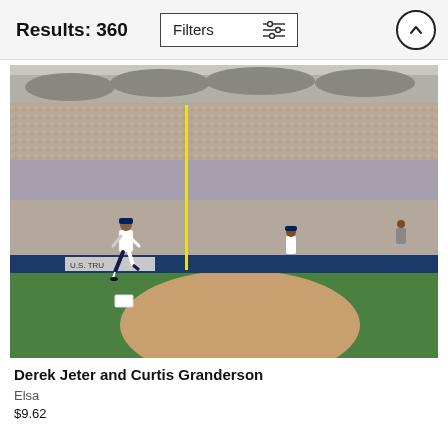Results: 360
[Figure (screenshot): UI screenshot showing Filters button with sliders icon and an up-arrow circle button in the header bar]
[Figure (photo): Baseball photo of Derek Jeter and Curtis Granderson running on the field at a packed Yankee Stadium, aerial wide view showing multiple tiers of seating filled with fans, yellow foul pole visible, U.S. Trust advertisement on outfield wall]
Derek Jeter and Curtis Granderson
Elsa
$9.62